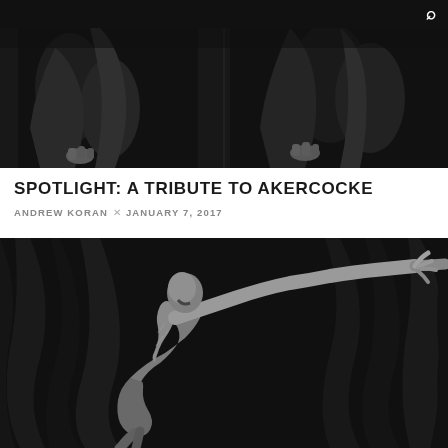[Figure (photo): Black and white photo of two people in dark leather jackets, cropped at torso level with hands visible]
SPOTLIGHT: A TRIBUTE TO AKERCOCKE
ANDREW KORAN  ×  JANUARY 7, 2017
[Figure (photo): Black and white dramatic illustration or photo of a skeletal/emaciated figure with arms outstretched against a dark draped background]